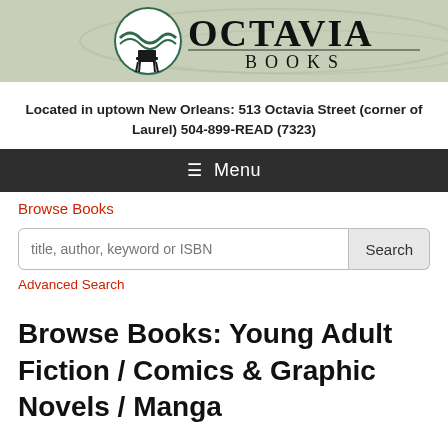[Figure (logo): Octavia Books logo: circular emblem with Adirondack chair and green wave design, with 'OCTAVIA BOOKS' text in large serif font]
Located in uptown New Orleans: 513 Octavia Street (corner of Laurel) 504-899-READ (7323)
≡ Menu
Browse Books
title, author, keyword or ISBN
Advanced Search
Browse Books: Young Adult Fiction / Comics & Graphic Novels / Manga